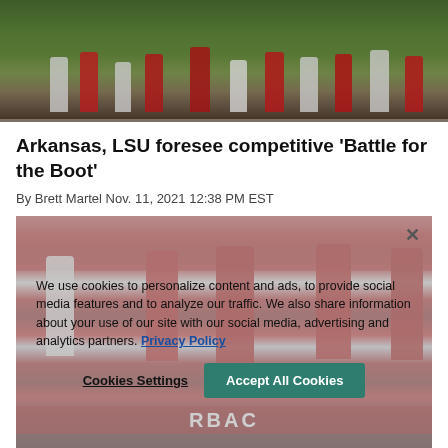[Figure (photo): Football game action photo showing players on a green field, shot from field level]
Arkansas, LSU foresee competitive 'Battle for the Boot'
By Brett Martel Nov. 11, 2021 12:38 PM EST
[Figure (photo): Arkansas Razorbacks football players in red uniforms running on field with semi-transparent cookie consent overlay]
We use cookies to personalize content and ads, to provide social media features and to analyze our traffic. We also share information about your use of our site with our social media, advertising and analytics partners. Privacy Policy
Cookies Settings   Accept All Cookies